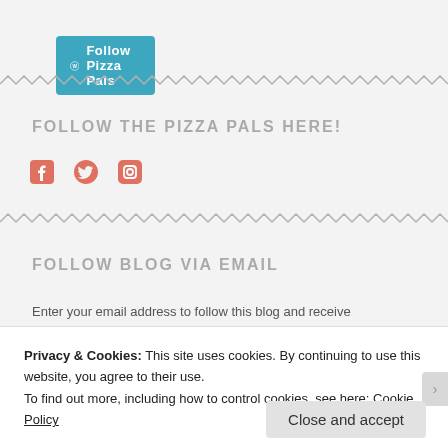[Figure (logo): WordPress Follow Pizza Pals button with teal/cyan background and white WordPress icon]
FOLLOW THE PIZZA PALS HERE!
[Figure (infographic): Three social media icons: Facebook, Twitter, Instagram in salmon/coral color]
FOLLOW BLOG VIA EMAIL
Enter your email address to follow this blog and receive
Privacy & Cookies: This site uses cookies. By continuing to use this website, you agree to their use.
To find out more, including how to control cookies, see here: Cookie Policy
Close and accept